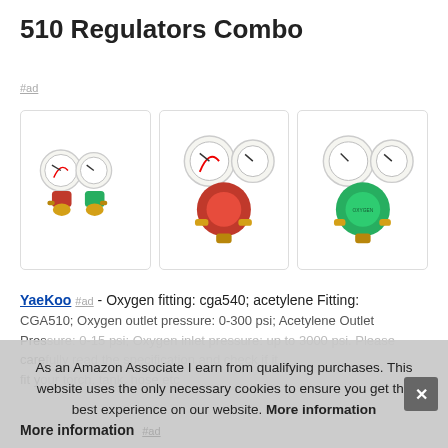510 Regulators Combo
#ad
[Figure (photo): Three gas regulator product images shown side by side in bordered boxes: left shows a pair of red and green regulators, center shows a red regulator close-up, right shows a green regulator close-up.]
YaeKoo #ad - Oxygen fitting: cga540; acetylene Fitting: CGA510; Oxygen outlet pressure: 0-300 psi; Acetylene Outlet Pressure: 0-15 psi; Oxygen inlet pressure: up to 3000 psi. Please carefully read the specification and check if it fit your torch, tank, hose etc
As an Amazon Associate I earn from qualifying purchases. This website uses the only necessary cookies to ensure you get the best experience on our website. More information
More information #ad